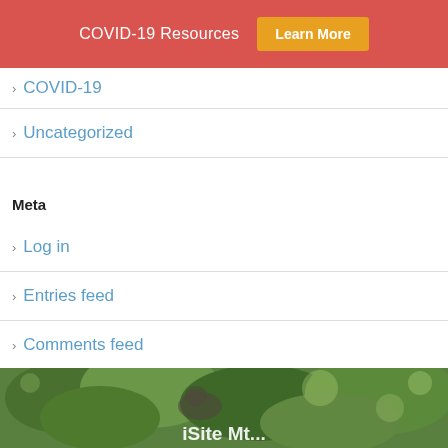COVID-19 Resources   Learn More
> COVID-19
> Uncategorized
Meta
> Log in
> Entries feed
> Comments feed
> WordPress.org
[Figure (photo): Background photo of foliage/greenery with partial view of a bird or animal, white text overlay at bottom]